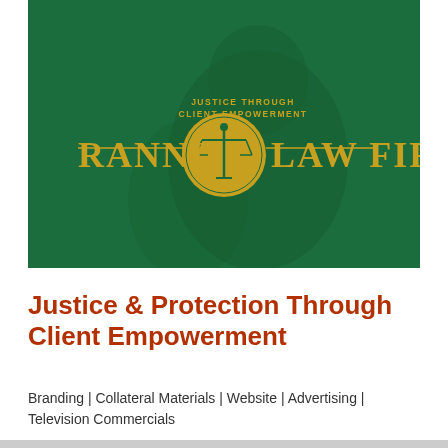[Figure (logo): Ranni Law Firm logo on a dark green background with a faded image of a person. The logo features the text 'RANNI LAW FIRM' in large gold/yellow serif letters with a circular emblem showing a scales of justice in the center. Above the emblem text reads 'JUSTICE THROUGH CLIENT EMPOWERMENT'.]
Justice & Protection Through Client Empowerment
Branding | Collateral Materials | Website | Advertising | Television Commercials